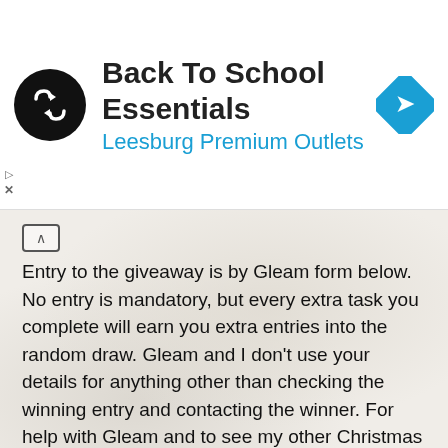[Figure (screenshot): Advertisement banner for Back To School Essentials at Leesburg Premium Outlets, with circular logo and navigation icon]
Entry to the giveaway is by Gleam form below. No entry is mandatory, but every extra task you complete will earn you extra entries into the random draw. Gleam and I don't use your details for anything other than checking the winning entry and contacting the winner. For help with Gleam and to see my other Christmas Present Giveaways please go to my giveaways page.
The giveaway will end at midnight November 30th. UK entries only.
[Figure (other): Blue button labeled 'Enter Competition']